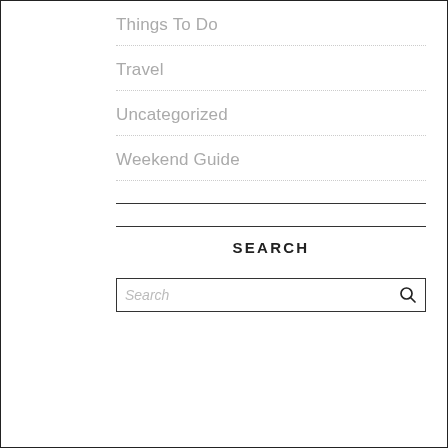Things To Do
Travel
Uncategorized
Weekend Guide
SEARCH
Search